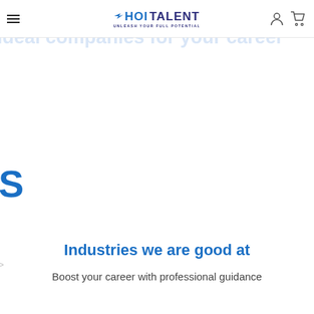HOI TALENT — UNLEASH YOUR FULL POTENTIAL
trainees obtained... ideal companies for your career
S
Industries we are good at
Boost your career with professional guidance